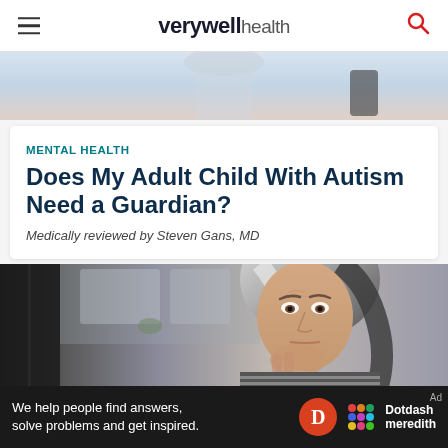verywell health
[Figure (photo): Partial top image of what appears to be a person, cropped at the top of the page]
MENTAL HEALTH
Does My Adult Child With Autism Need a Guardian?
Medically reviewed by Steven Gans, MD
[Figure (photo): A middle-aged woman with gray and dark hair, wearing a striped top, resting her chin on her hand with a thoughtful/concerned expression, photographed indoors with a blurred kitchen background]
We help people find answers, solve problems and get inspired. Dotdash meredith